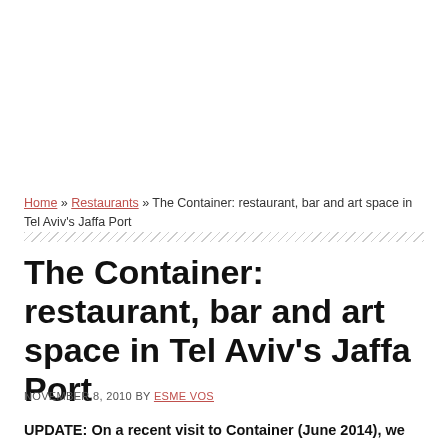Home » Restaurants » The Container: restaurant, bar and art space in Tel Aviv's Jaffa Port
The Container: restaurant, bar and art space in Tel Aviv's Jaffa Port
NOVEMBER 8, 2010 BY ESME VOS
UPDATE: On a recent visit to Container (June 2014), we